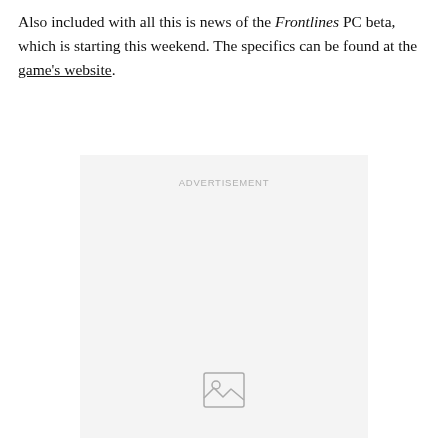Also included with all this is news of the Frontlines PC beta, which is starting this weekend. The specifics can be found at the game's website.
[Figure (other): Advertisement placeholder box with 'ADVERTISEMENT' label in light gray text and a broken image icon at the bottom center.]